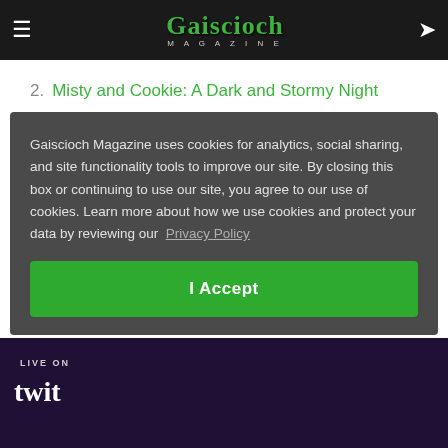Gaiscioch Magazine
1. A Nightblade's Adventures in Wrothgar
2. Misty and Cookie: A Dark and Stormy Night
3. Kaos Krewe – Awakened Adventures
4. [partially visible]
Gaiscioch Magazine uses cookies for analytics, social sharing, and site functionality tools to improve our site. By closing this box or continuing to use our site, you agree to our use of cookies. Learn more about how we use cookies and protect your data by reviewing our Privacy Policy
I Accept
LIVE ON Twitch